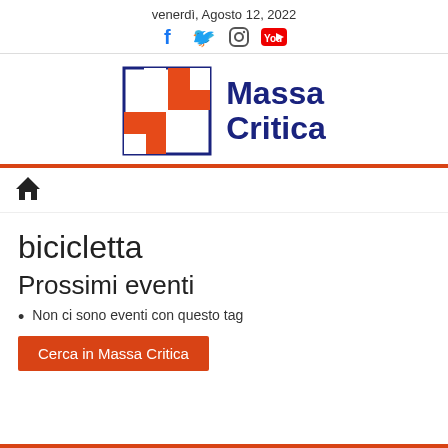venerdì, Agosto 12, 2022
[Figure (logo): Massa Critica logo with orange and white puzzle-piece squares and dark blue bold text 'Massa Critica']
[Figure (infographic): Navigation bar with home icon]
bicicletta
Prossimi eventi
Non ci sono eventi con questo tag
Cerca in Massa Critica